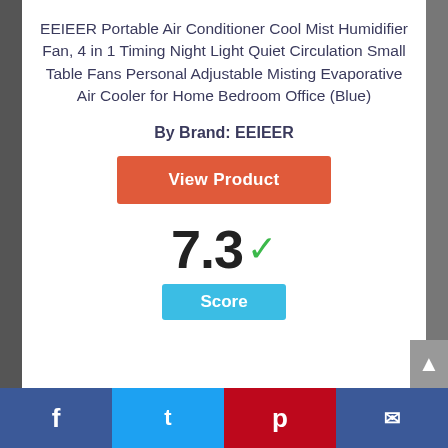EEIEER Portable Air Conditioner Cool Mist Humidifier Fan, 4 in 1 Timing Night Light Quiet Circulation Small Table Fans Personal Adjustable Misting Evaporative Air Cooler for Home Bedroom Office (Blue)
By Brand: EEIEER
View Product
7.3 ✓
Score
Facebook | Twitter | Pinterest | Email